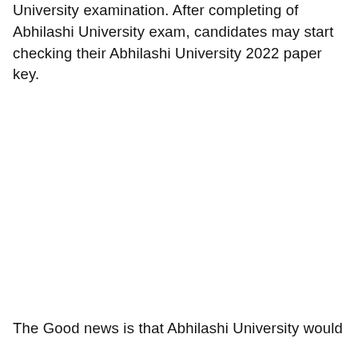University examination. After completing of Abhilashi University exam, candidates may start checking their Abhilashi University 2022 paper key.
The Good news is that Abhilashi University would